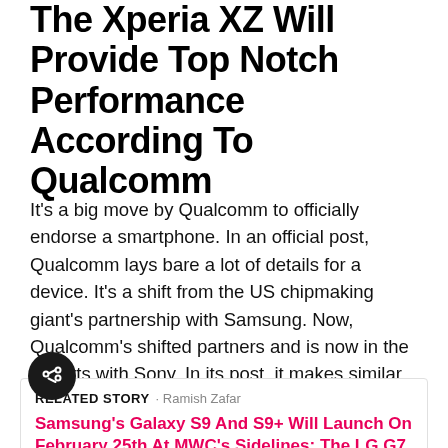The Xperia XZ Will Provide Top Notch Performance According To Qualcomm
It's a big move by Qualcomm to officially endorse a smartphone. In an official post, Qualcomm lays bare a lot of details for a device. It's a shift from the US chipmaking giant's partnership with Samsung. Now, Qualcomm's shifted partners and is now in the cohorts with Sony. In its post, it makes similar claims for the Snapdragon 835 as we've heard before. The processor is 35% smaller and uses 25% less power when compared to its predecessor.
RELATED STORY · Ramish Zafar Samsung's Galaxy S9 And S9+ Will Launch On February 25th At MWC's Sidelines; The LG G7